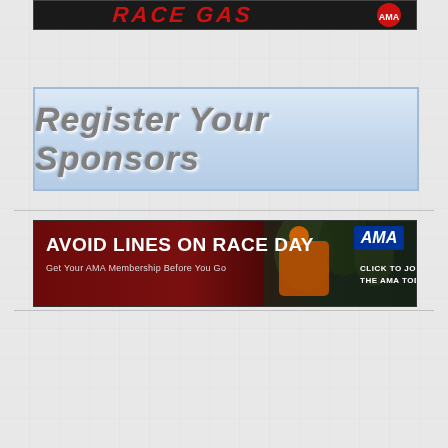[Figure (illustration): Race Gas banner advertisement at top with bold red text on dark background]
[Figure (illustration): Register Your Sponsors button - large banner with grey italic bold text on light blue gradient background]
[Figure (illustration): AMA advertisement banner: AVOID LINES ON RACE DAY - Get Your AMA Membership Before You Go - CLICK TO JOIN THE AMA TODAY, dark red background with motocross rider photo]